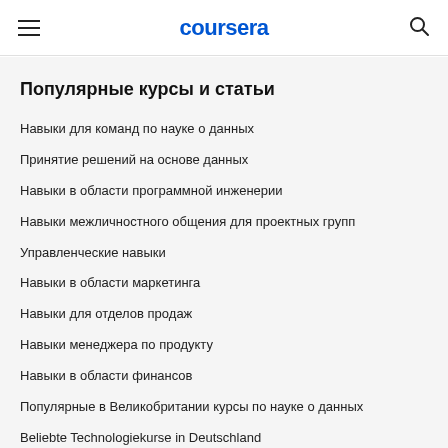coursera
Популярные курсы и статьи
Навыки для команд по науке о данных
Принятие решений на основе данных
Навыки в области программной инженерии
Навыки межличностного общения для проектных групп
Управленческие навыки
Навыки в области маркетинга
Навыки для отделов продаж
Навыки менеджера по продукту
Навыки в области финансов
Популярные в Великобритании курсы по науке о данных
Beliebte Technologiekurse in Deutschland
Популярные сертификаты по кибербезопасности